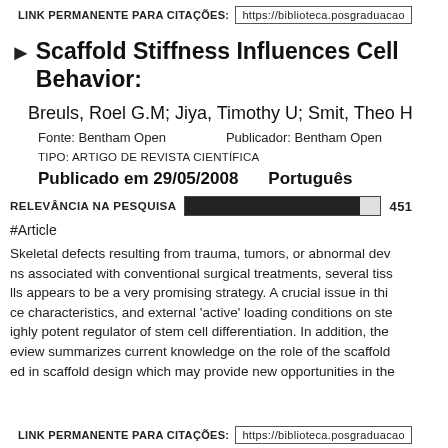LINK PERMANENTE PARA CITAÇÕES: https://biblioteca.posgraduacao...
▶ Scaffold Stiffness Influences Cell Behavior:
Breuls, Roel G.M; Jiya, Timothy U; Smit, Theo H
Fonte: Bentham Open    Publicador: Bentham Open
TIPO: ARTIGO DE REVISTA CIENTÍFICA
Publicado em 29/05/2008    Português
RELEVÂNCIA NA PESQUISA  [bar] 451
#Article
Skeletal defects resulting from trauma, tumors, or abnormal dev ns associated with conventional surgical treatments, several tiss lls appears to be a very promising strategy. A crucial issue in thi ce characteristics, and external 'active' loading conditions on ste ighly potent regulator of stem cell differentiation. In addition, the eview summarizes current knowledge on the role of the scaffold ed in scaffold design which may provide new opportunities in the
LINK PERMANENTE PARA CITAÇÕES: https://biblioteca.posgraduacao...